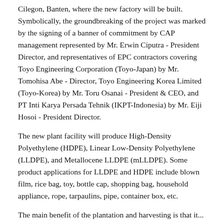Cilegon, Banten, where the new factory will be built. Symbolically, the groundbreaking of the project was marked by the signing of a banner of commitment by CAP management represented by Mr. Erwin Ciputra - President Director, and representatives of EPC contractors covering Toyo Engineering Corporation (Toyo-Japan) by Mr. Tomohisa Abe - Director, Toyo Engineering Korea Limited (Toyo-Korea) by Mr. Toru Osanai - President & CEO, and PT Inti Karya Persada Tehnik (IKPT-Indonesia) by Mr. Eiji Hosoi - President Director.
The new plant facility will produce High-Density Polyethylene (HDPE), Linear Low-Density Polyethylene (LLDPE), and Metallocene LLDPE (mLLDPE). Some product applications for LLDPE and HDPE include blown film, rice bag, toy, bottle cap, shopping bag, household appliance, rope, tarpaulins, pipe, container box, etc.
The main benefit of the plantation...